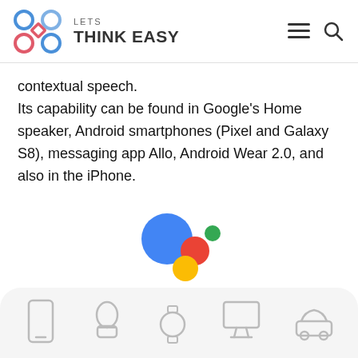[Figure (logo): Lets Think Easy website logo with colorful geometric shapes (circles and diamond) and text 'LETS THINK EASY']
contextual speech.
Its capability can be found in Google's Home speaker, Android smartphones (Pixel and Galaxy S8), messaging app Allo, Android Wear 2.0, and also in the iPhone.
[Figure (logo): Google Assistant logo — large blue circle, red circle, green dot, yellow circle arranged in assistant icon pattern]
[Figure (illustration): Row of device icons: smartphone, smart speaker, smartwatch, desktop monitor, car — shown in light gray outline style]